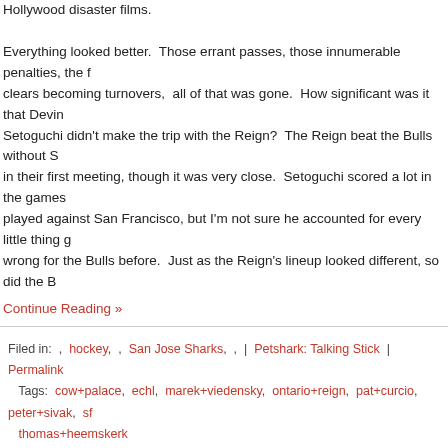Hollywood disaster films. Everything looked better. Those errant passes, those innumerable penalties, the failed clears becoming turnovers, all of that was gone. How significant was it that Devin Setoguchi didn't make the trip with the Reign? The Reign beat the Bulls without S in their first meeting, though it was very close. Setoguchi scored a lot in the games played against San Francisco, but I'm not sure he accounted for every little thing g wrong for the Bulls before. Just as the Reign's lineup looked different, so did the B
Continue Reading »
Filed in: , hockey, , San Jose Sharks, , | Petshark: Talking Stick | Permalink
Tags: cow+palace, echl, marek+viedensky, ontario+reign, pat+curcio, peter+sivak, sf, thomas+heemskerk
Getting accustomed: Bulls win 3 of 4, NHL still winless
by petshark on 11/23/12 at 02:30 PM ET
Comments (0)
The SF Bulls have won three of their last four games. They started the season with wins in their first ten. Of the eight after that, they've won four. I asked Pat Curcio w changed. He attributed the improvement partly to the fact that a new young team s some time to get accustomed." He also mentioned the latest round of roster move
"We wanted to be a young team, hard working and ready to go to the next lev